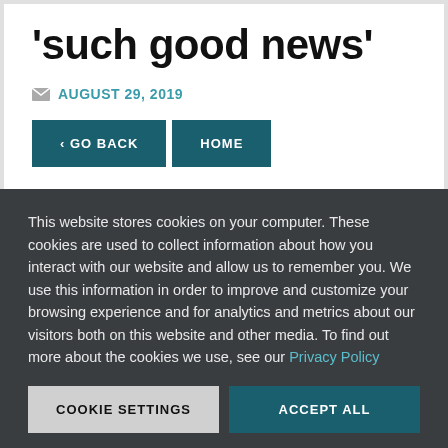'such good news'
AUGUST 29, 2019
< GO BACK   HOME
This website stores cookies on your computer. These cookies are used to collect information about how you interact with our website and allow us to remember you. We use this information in order to improve and customize your browsing experience and for analytics and metrics about our visitors both on this website and other media. To find out more about the cookies we use, see our Privacy Policy
COOKIE SETTINGS   ACCEPT ALL